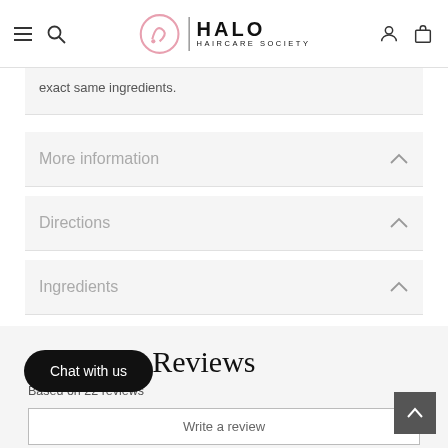HALO HAIRCARE SOCIETY
exact same ingredients.
More information
Directions
Ingredients
Customer Reviews
Based on 22 reviews
Write a review
Chat with us